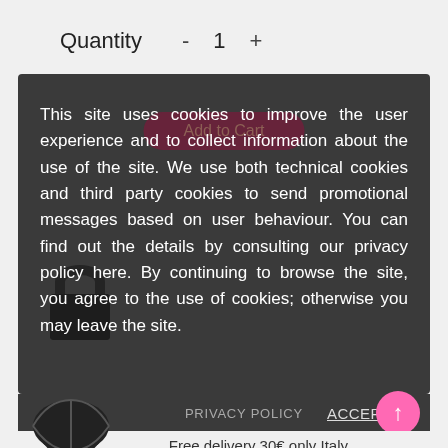Quantity  -  1  +
This site uses cookies to improve the user experience and to collect information about the use of the site. We use both technical cookies and third party cookies to send promotional messages based on user behaviour. You can find out the details by consulting our privacy policy here. By continuing to browse the site, you agree to the use of cookies; otherwise you may leave the site.
PRIVACY POLICY   ACCEPT ✓
Free delivery 30€ only Italy